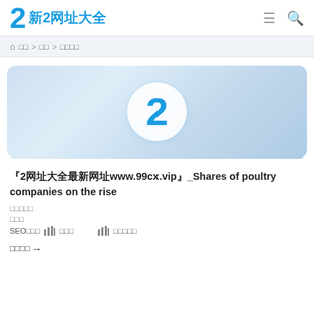新2网址大全
首页 > 分类 > 搜索结果
[Figure (logo): Blue number 2 logo on a light blue gradient banner background]
『2网址大全最新网址www.99cx.vip』_Shares of poultry companies on the rise
发布时间：
分类：
SEO查询 📊 百度权重 📊 360权重
相关网站→